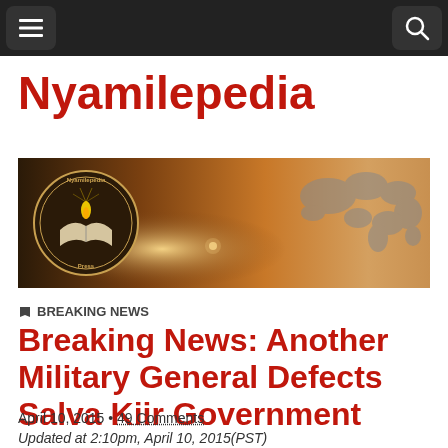Nyamilepedia
[Figure (illustration): Nyamilepedia Press banner image with logo (open book with candle, circular badge), warm brown gradient background with world map silhouette on right]
BREAKING NEWS
Breaking News: Another Military General Defects Salva Kiir Government
April 10, 2015 • 49 Comments
Updated at 2:10pm, April 10, 2015(PST)